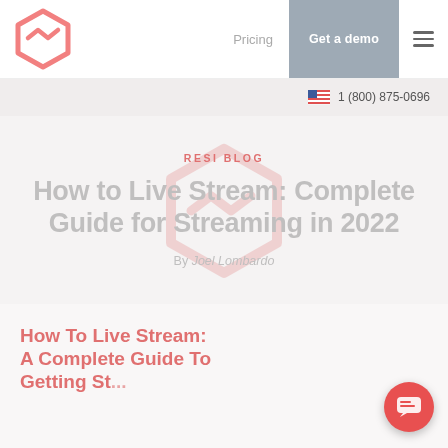Pricing | Get a demo
1 (800) 875-0696
RESI BLOG
How to Live Stream: Complete Guide for Streaming in 2022
By Joel Lombardo
How To Live Stream: A Complete Guide To Getting Started